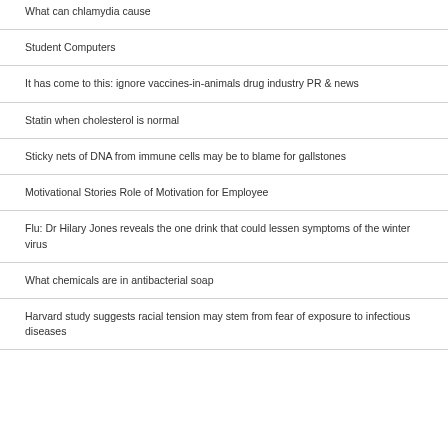What can chlamydia cause
Student Computers
It has come to this: ignore vaccines-in-animals drug industry PR & news
Statin when cholesterol is normal
Sticky nets of DNA from immune cells may be to blame for gallstones
Motivational Stories Role of Motivation for Employee
Flu: Dr Hilary Jones reveals the one drink that could lessen symptoms of the winter virus
What chemicals are in antibacterial soap
Harvard study suggests racial tension may stem from fear of exposure to infectious diseases